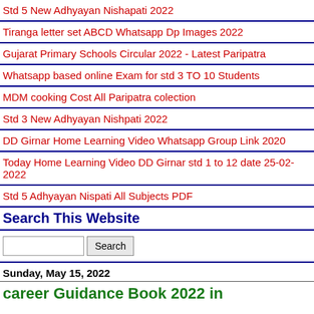Std 5 New Adhyayan Nishapati 2022
Tiranga letter set ABCD Whatsapp Dp Images 2022
Gujarat Primary Schools Circular 2022 - Latest Paripatra
Whatsapp based online Exam for std 3 TO 10 Students
MDM cooking Cost All Paripatra colection
Std 3 New Adhyayan Nishpati 2022
DD Girnar Home Learning Video Whatsapp Group Link 2020
Today Home Learning Video DD Girnar std 1 to 12 date 25-02-2022
Std 5 Adhyayan Nispati All Subjects PDF
Search This Website
[Search input box] [Search button]
Sunday, May 15, 2022
career Guidance Book 2022 in